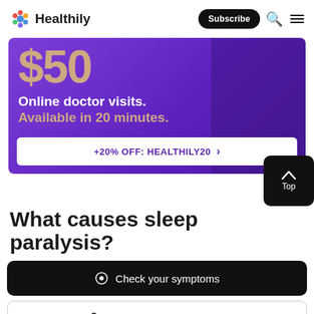Healthily — Subscribe
[Figure (infographic): Purple advertisement banner for online doctor visits at $50, available in 20 minutes, with promo code HEALTHILY20 for 20% off. Features silhouette of person in background.]
What causes sleep paralysis?
Check your symptoms
Speak to an online doctor